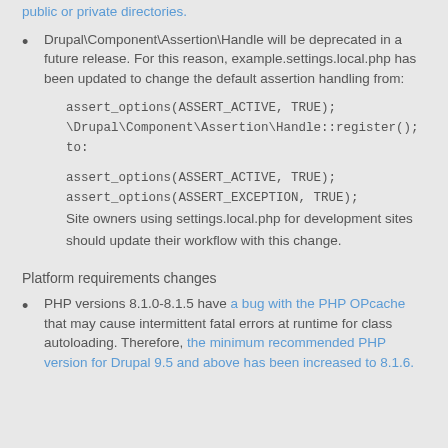public or private directories.
Drupal\Component\Assertion\Handle will be deprecated in a future release. For this reason, example.settings.local.php has been updated to change the default assertion handling from:
Platform requirements changes
PHP versions 8.1.0-8.1.5 have a bug with the PHP OPcache that may cause intermittent fatal errors at runtime for class autoloading. Therefore, the minimum recommended PHP version for Drupal 9.5 and above has been increased to 8.1.6.